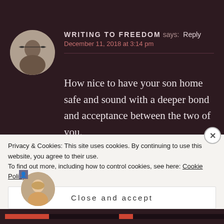WRITING TO FREEDOM says: Reply
December 11, 2018 at 3:14 pm
How nice to have your son home safe and sound with a deeper bond and acceptance between the two of you.
CANDIDKAY says: Reply
Privacy & Cookies: This site uses cookies. By continuing to use this website, you agree to their use.
To find out more, including how to control cookies, see here: Cookie Policy
Close and accept